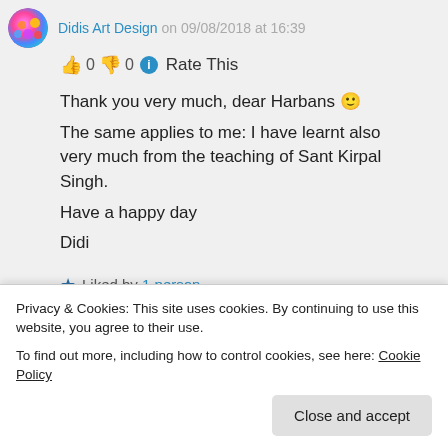Didis Art Design on 09/08/2018 at 16:39
👍 0 👎 0 ℹ Rate This
Thank you very much, dear Harbans 🙂
The same applies to me: I have learnt also very much from the teaching of Sant Kirpal Singh.
Have a happy day
Didi
★ Liked by 1 person
Log in to Reply
Privacy & Cookies: This site uses cookies. By continuing to use this website, you agree to their use.
To find out more, including how to control cookies, see here: Cookie Policy
Close and accept